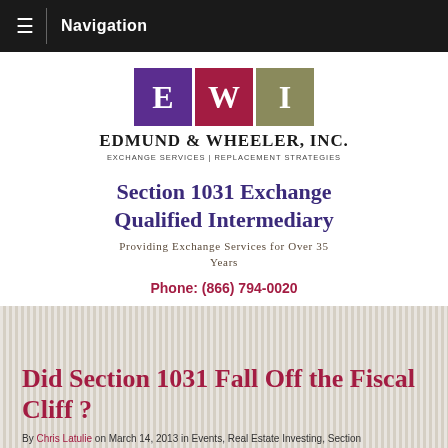Navigation
[Figure (logo): Edmund & Wheeler, Inc. logo with three colored boxes E (purple), W (dark red), I (olive/khaki) and company name below: EDMUND & WHEELER, INC. | EXCHANGE SERVICES | REPLACEMENT STRATEGIES]
Section 1031 Exchange Qualified Intermediary
Providing Exchange Services for Over 35 Years
Phone: (866) 794-0020
Did Section 1031 Fall Off the Fiscal Cliff ?
By Chris Latulie on March 14, 2013 in Events, Real Estate Investing, Section